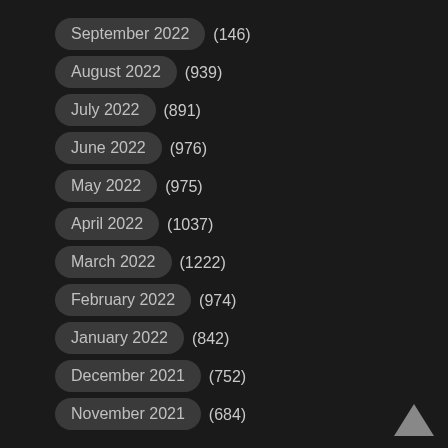September 2022 (146)
August 2022 (939)
July 2022 (891)
June 2022 (976)
May 2022 (975)
April 2022 (1037)
March 2022 (1222)
February 2022 (974)
January 2022 (842)
December 2021 (752)
November 2021 (684)